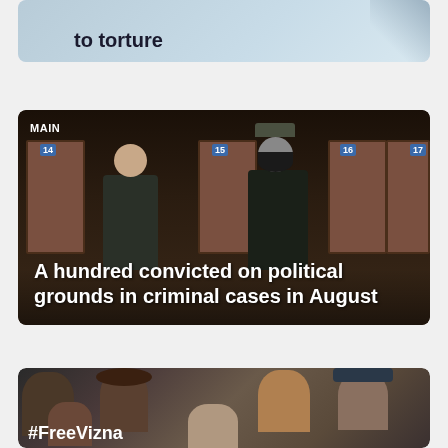[Figure (photo): Partial view of a news card showing text 'to torture' at the top, cropped image]
[Figure (photo): Prison corridor scene with two men walking past numbered cell doors (14, 15, 16, 17). Label 'MAIN' visible top left.]
A hundred convicted on political grounds in criminal cases in August
[Figure (photo): Group photo montage of multiple faces (political prisoners) with hashtag #FreeVizna partially visible at the bottom]